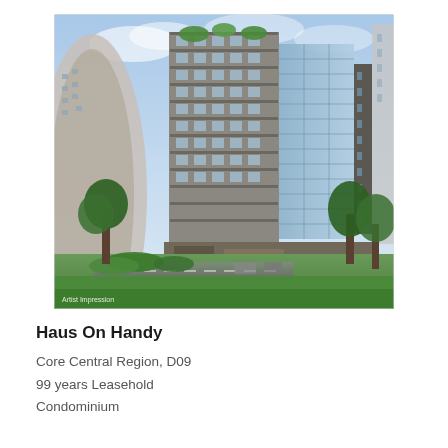[Figure (photo): Architectural rendering of Haus On Handy, a modern high-rise condominium building in Singapore. The building features multiple balconies with greenery, glass facades, and is surrounded by trees. An 'Artist Impression' watermark appears at the bottom left of the image.]
Haus On Handy
Core Central Region, D09
99 years Leasehold
Condominium